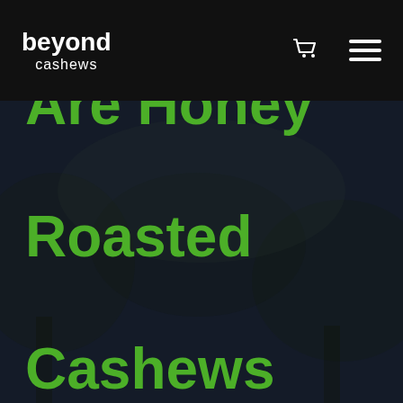beyond cashews
Are Honey Roasted Cashews